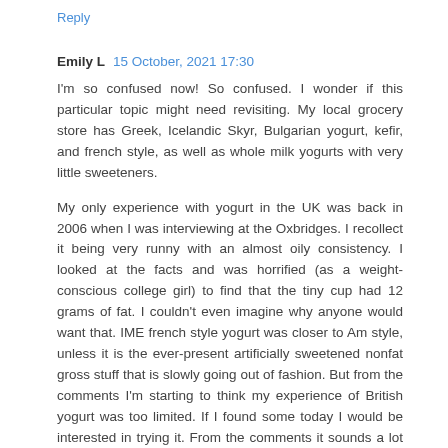Reply
Emily L  15 October, 2021 17:30
I'm so confused now! So confused. I wonder if this particular topic might need revisiting. My local grocery store has Greek, Icelandic Skyr, Bulgarian yogurt, kefir, and french style, as well as whole milk yogurts with very little sweeteners.
My only experience with yogurt in the UK was back in 2006 when I was interviewing at the Oxbridges. I recollect it being very runny with an almost oily consistency. I looked at the facts and was horrified (as a weight-conscious college girl) to find that the tiny cup had 12 grams of fat. I couldn't even imagine why anyone would want that. IME french style yogurt was closer to Am style, unless it is the ever-present artificially sweetened nonfat gross stuff that is slowly going out of fashion. But from the comments I'm starting to think my experience of British yogurt was too limited. If I found some today I would be interested in trying it. From the comments it sounds a lot like any standard